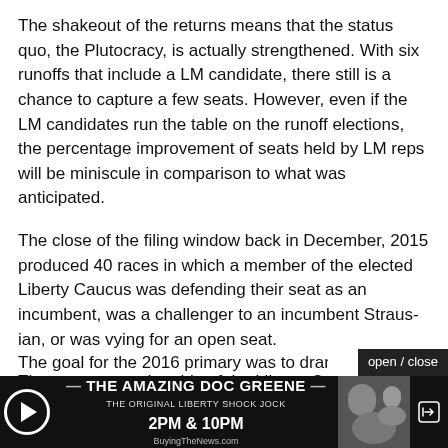The shakeout of the returns means that the status quo, the Plutocracy, is actually strengthened. With six runoffs that include a LM candidate, there still is a chance to capture a few seats. However, even if the LM candidates run the table on the runoff elections, the percentage improvement of seats held by LM reps will be miniscule in comparison to what was anticipated.
The close of the filing window back in December, 2015 produced 40 races in which a member of the elected Liberty Caucus was defending their seat as an incumbent, was a challenger to an incumbent Straus-ian, or was vying for an open seat.
The current membership of the Liberty Caucus in the Texas House of Representatives is 19 out of 150 total seats and 98 seats occupied by Republicans. They are primarily defined by their outstanding and consistent RER Liberty Score and other legislative scorecards, and their refusal to support Joe Straus as Speaker.
The goal for the 2016 primary was to dramatically exp
[Figure (screenshot): Banner advertisement for 'The Amazing Doc Greene' radio show, showing play button on left, show name and times '2PM & 10PM' in center, and a photo of a man on right. 'open / close' button overlaid at top right.]